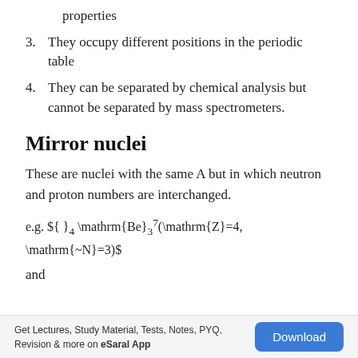properties
3. They occupy different positions in the periodic table
4. They can be separated by chemical analysis but cannot be separated by mass spectrometers.
Mirror nuclei
These are nuclei with the same A but in which neutron and proton numbers are interchanged.
and
Get Lectures, Study Material, Tests, Notes, PYQ, Revision & more on eSaral App  Download